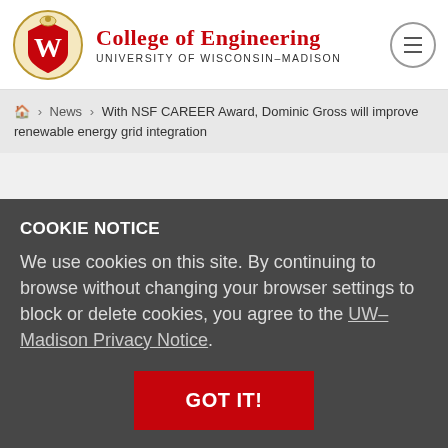[Figure (logo): University of Wisconsin-Madison College of Engineering shield logo with W emblem]
College of Engineering
UNIVERSITY OF WISCONSIN-MADISON
🏠 > News > With NSF CAREER Award, Dominic Gross will improve renewable energy grid integration
[Figure (photo): Dark overlay with cookie notice banner over a photo of a person]
COOKIE NOTICE
We use cookies on this site. By continuing to browse without changing your browser settings to block or delete cookies, you agree to the UW–Madison Privacy Notice.
GOT IT!